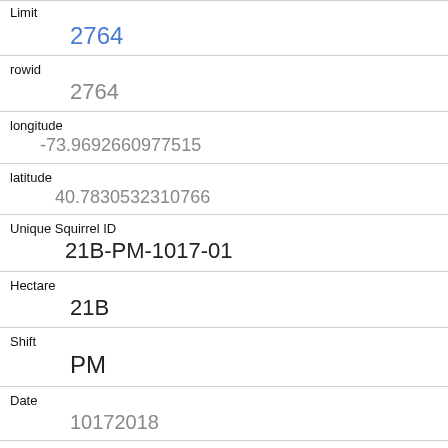Limit: 2764
rowid: 2764
longitude: -73.9692660977515
latitude: 40.7830532310766
Unique Squirrel ID: 21B-PM-1017-01
Hectare: 21B
Shift: PM
Date: 10172018
Hectare Squirrel Number: 1
Age: Juvenile
Primary Fur Color